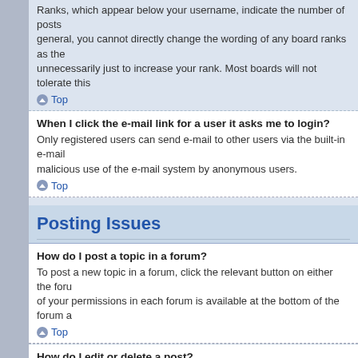Ranks, which appear below your username, indicate the number of posts general, you cannot directly change the wording of any board ranks as the unnecessarily just to increase your rank. Most boards will not tolerate this
Top
When I click the e-mail link for a user it asks me to login?
Only registered users can send e-mail to other users via the built-in e-mail malicious use of the e-mail system by anonymous users.
Top
Posting Issues
How do I post a topic in a forum?
To post a new topic in a forum, click the relevant button on either the foru of your permissions in each forum is available at the bottom of the forum a
Top
How do I edit or delete a post?
Unless you are a board administrator or moderator, you can only edit or de relevant post, sometimes for only a limited time after the post was made. output below the post when you return to the topic which lists the number someone has made a reply; it will not appear if a moderator or administrat at their own discretion. Please note that normal users cannot delete a pos
Top